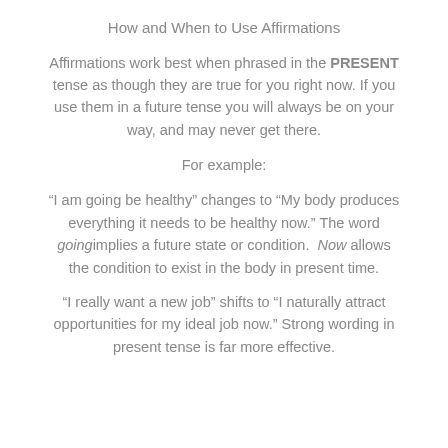How and When to Use Affirmations
Affirmations work best when phrased in the PRESENT tense as though they are true for you right now. If you use them in a future tense you will always be on your way, and may never get there.
For example:
“I am going be healthy” changes to “My body produces everything it needs to be healthy now.” The word going implies a future state or condition. Now allows the condition to exist in the body in present time.
“I really want a new job” shifts to “I naturally attract opportunities for my ideal job now.” Strong wording in present tense is far more effective.